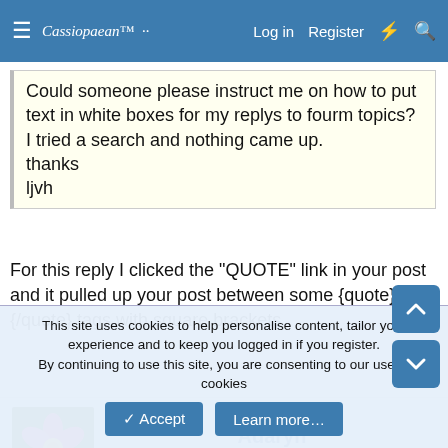Cassiopaean Forum | Log in | Register
Could someone please instruct me on how to put text in white boxes for my replys to fourm topics? I tried a search and nothing came up.
thanks
ljvh
For this reply I clicked the "QUOTE" link in your post and it pulled up your post between some {quote} {/quote} tags with square brackets.
Adaryn
The Living Force
This site uses cookies to help personalise content, tailor your experience and to keep you logged in if you register.
By continuing to use this site, you are consenting to our use of cookies
✓ Accept | Learn more...